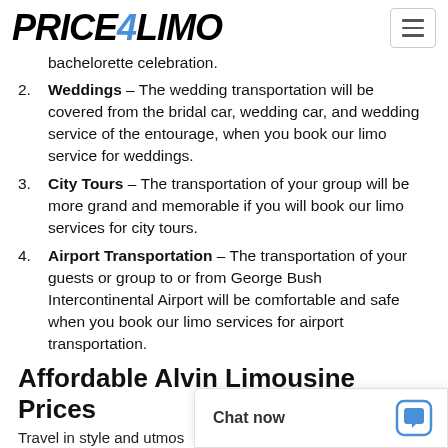PRICE4LIMO
bachelorette celebration.
Weddings – The wedding transportation will be covered from the bridal car, wedding car, and wedding service of the entourage, when you book our limo service for weddings.
City Tours – The transportation of your group will be more grand and memorable if you will book our limo services for city tours.
Airport Transportation – The transportation of your guests or group to or from George Bush Intercontinental Airport will be comfortable and safe when you book our limo services for airport transportation.
Affordable Alvin Limousine Prices
Travel in style and utmos